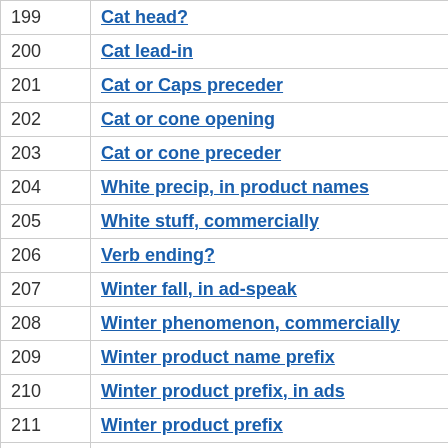| 199 | Cat head? |
| 200 | Cat lead-in |
| 201 | Cat or Caps preceder |
| 202 | Cat or cone opening |
| 203 | Cat or cone preceder |
| 204 | White precip, in product names |
| 205 | White stuff, commercially |
| 206 | Verb ending? |
| 207 | Winter fall, in ad-speak |
| 208 | Winter phenomenon, commercially |
| 209 | Winter product name prefix |
| 210 | Winter product prefix, in ads |
| 211 | Winter product prefix |
| 212 | Winter product word |